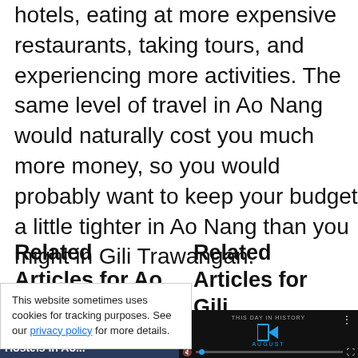hotels, eating at more expensive restaurants, taking tours, and experiencing more activities. The same level of travel in Ao Nang would naturally cost you much more money, so you would probably want to keep your budget a little tighter in Ao Nang than you might in Gili Trawangan.
Related Articles for Ao Nang
Related Articles for Gili Trawangan
[Figure (photo): The Best Party Hostels in Ao Nang thumbnail image with dark blue background]
[Figure (screenshot): This Day in History video player with play button, mute icon, progress bar, and fullscreen button on dark background]
This website sometimes uses cookies for tracking purposes. See our privacy policy for more details.